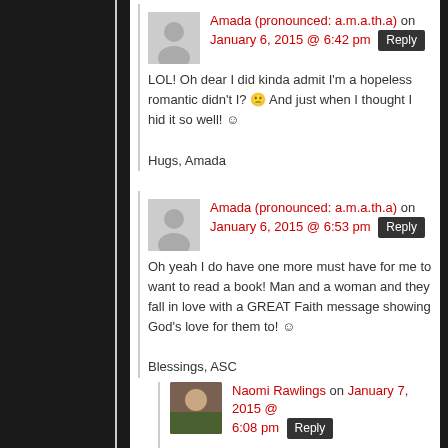Amada (pronounced: a.m.a.th.a) on January 6, 2015 @ 6:42 pm Reply
LOL! Oh dear I did kinda admit I'm a hopeless romantic didn't I? 😦 And just when I thought I hid it so well! 😊

Hugs, Amada
Amada (pronounced: a.m.a.th.a) on January 6, 2015 @ 6:53 pm Reply
Oh yeah I do have one more must have for me to want to read a book! Man and a woman and they fall in love with a GREAT Faith message showing God's love for them to! 🙂

Blessings, ASC
Naomi Rawlings on January 7, 2015 @ 6:08 pm Reply
I love novels with a strong faith message, the